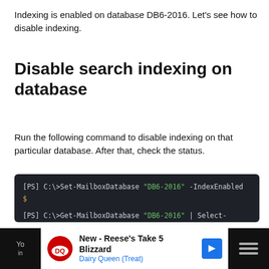Indexing is enabled on database DB6-2016. Let's see how to disable indexing.
Disable search indexing on database
Run the following command to disable indexing on that particular database. After that, check the status.
[Figure (screenshot): PowerShell terminal showing Set-MailboxDatabase and Get-MailboxDatabase commands with output showing DB6-2016 IndexEnabled False]
You ... check the in...